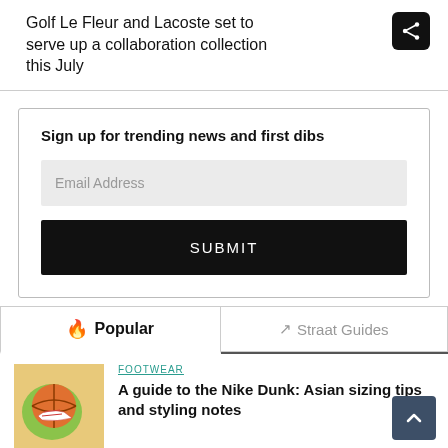Golf Le Fleur and Lacoste set to serve up a collaboration collection this July
Sign up for trending news and first dibs
Email Address
SUBMIT
🔥 Popular
↗ Straat Guides
FOOTWEAR
A guide to the Nike Dunk: Asian sizing tips and styling notes